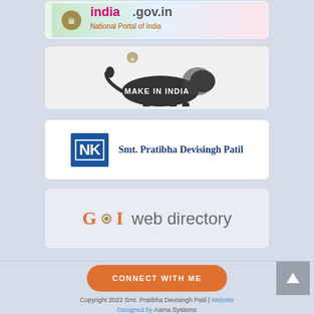[Figure (logo): india.gov.in National Portal of India banner with colorful floral background]
[Figure (logo): Make in India logo with lion silhouette and government emblem]
[Figure (logo): NK logo with text 'Smt. Pratibha Devisingh Patil']
[Figure (logo): GOI web directory logo in orange and grey]
CONNECT WITH ME
Copyright 2022 Smt. Pratibha Devisingh Patil | Website Designed by Aarna Systems